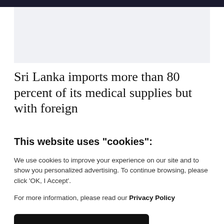[Figure (other): Top navigation banner, dark blue/black strip at top of page]
[Figure (photo): Light gray image placeholder area for article photo]
Sri Lanka imports more than 80 percent of its medical supplies but with foreign
This website uses "cookies":
We use cookies to improve your experience on our site and to show you personalized advertising. To continue browsing, please click 'OK, I Accept'.
For more information, please read our Privacy Policy
Ok, I Accept